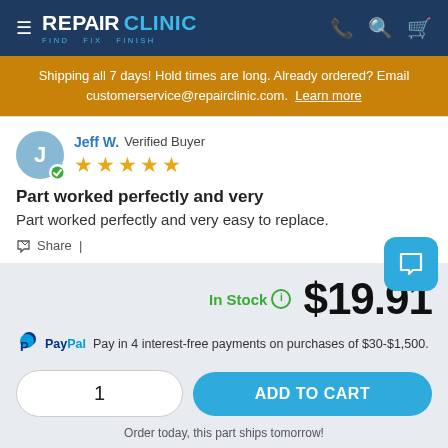REPAIR CLINIC – FIND. FIX. FINISH.
Shipping all 7 days! Hold times are long. Already ordered? Email customerservice@repairclinic.com. Learn more
Jeff W. Verified Buyer – 5 stars – Part worked perfectly and very – Part worked perfectly and very easy to replace. – Share
In Stock $19.91
PayPal Pay in 4 interest-free payments on purchases of $30-$1,500.
1 ADD TO CART
Order today, this part ships tomorrow!